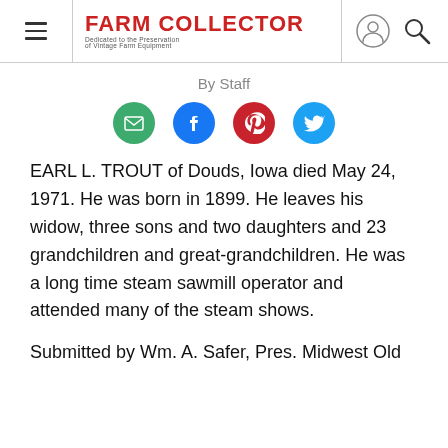Farm Collector — Dedicated to the Preservation of Vintage Farm Equipment
By Staff
[Figure (infographic): Four social sharing icons in circles: email (green), Facebook (blue), Pinterest (red), Twitter (blue)]
EARL L. TROUT of Douds, Iowa died May 24, 1971. He was born in 1899. He leaves his widow, three sons and two daughters and 23 grandchildren and great-grandchildren. He was a long time steam sawmill operator and attended many of the steam shows.
Submitted by Wm. A. Safer, Pres. Midwest Old